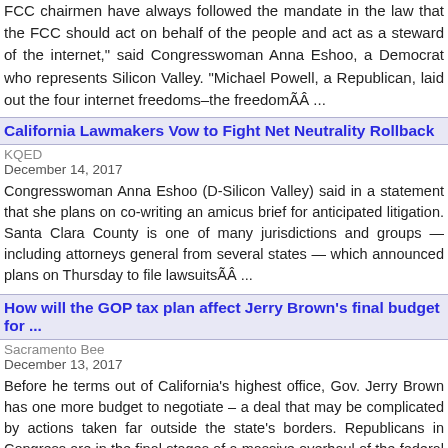FCC chairmen have always followed the mandate in the law that the FCC should act on behalf of the people and act as a steward of the internet," said Congresswoman Anna Eshoo, a Democrat who represents Silicon Valley. "Michael Powell, a Republican, laid out the four internet freedoms–the freedomÃÂ ...
California Lawmakers Vow to Fight Net Neutrality Rollback
KQED
December 14, 2017
Congresswoman Anna Eshoo (D-Silicon Valley) said in a statement that she plans on co-writing an amicus brief for anticipated litigation. Santa Clara County is one of many jurisdictions and groups — including attorneys general from several states — which announced plans on Thursday to file lawsuitsÃÂ ...
How will the GOP tax plan affect Jerry Brown's final budget for ...
Sacramento Bee
December 13, 2017
Before he terms out of California's highest office, Gov. Jerry Brown has one more budget to negotiate – a deal that may be complicated by actions taken far outside the state's borders. Republicans in Congress are in the final stages of a massive overhaul of the federal tax code, which they are eager to passÃÂ ...
Reforming Congress in the age of #MeToo